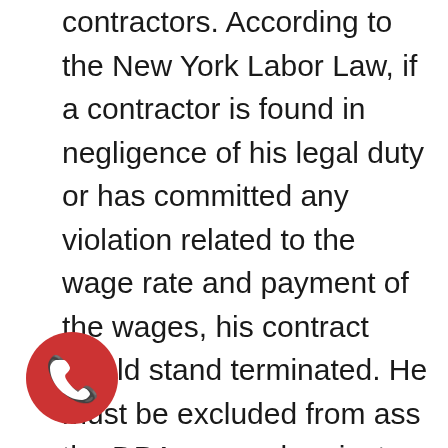contractors. According to the New York Labor Law, if a contractor is found in negligence of his legal duty or has committed any violation related to the wage rate and payment of the wages, his contract would stand terminated. He must be excluded from ass the DBA covered projects for a period of three years and he will be liable to pay the costs as wages that he owes to the unpaid workers. Falsification of such records may evoke civil or criminal persecution for which the penalties result in imprisonment.

There are also severe penalties under the Federal False Claims Act. These include heavy payments under liabilities and liquidated
[Figure (illustration): Red circular button with white phone/call icon]